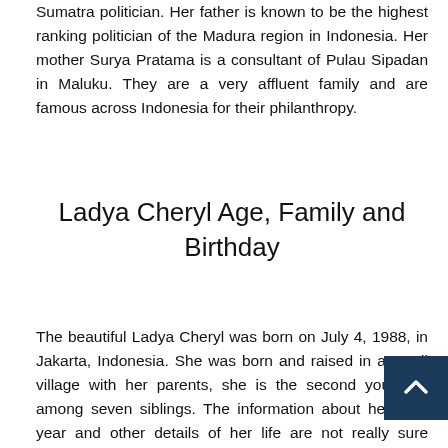Sumatra politician. Her father is known to be the highest ranking politician of the Madura region in Indonesia. Her mother Surya Pratama is a consultant of Pulau Sipadan in Maluku. They are a very affluent family and are famous across Indonesia for their philanthropy.
Ladya Cheryl Age, Family and Birthday
The beautiful Ladya Cheryl was born on July 4, 1988, in Jakarta, Indonesia. She was born and raised in a small village with her parents, she is the second youngest among seven siblings. The information about her birth year and other details of her life are not really sure because of her nature to keep herself very private. Ladya Cheryl Measurements, Height and Weight Aside from her great roles in various soap operas and movies, Ladya Cheryl has also...